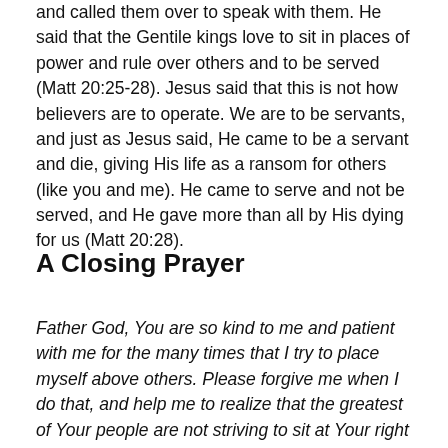and called them over to speak with them. He said that the Gentile kings love to sit in places of power and rule over others and to be served (Matt 20:25-28). Jesus said that this is not how believers are to operate. We are to be servants, and just as Jesus said, He came to be a servant and die, giving His life as a ransom for others (like you and me). He came to serve and not be served, and He gave more than all by His dying for us (Matt 20:28).
A Closing Prayer
Father God, You are so kind to me and patient with me for the many times that I try to place myself above others. Please forgive me when I do that, and help me to realize that the greatest of Your people are not striving to sit at Your right hand, but to serve people in humility. I ask for